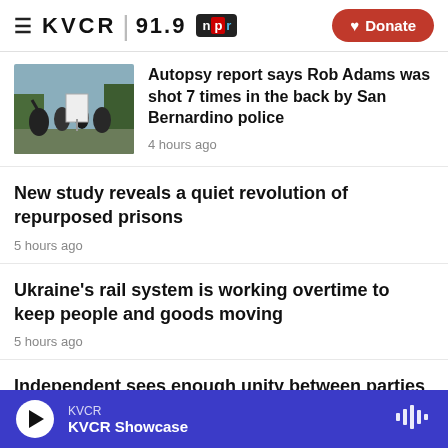KVCR 91.9 NPR | Donate
[Figure (photo): Outdoor press conference scene with people gathered around a display board]
Autopsy report says Rob Adams was shot 7 times in the back by San Bernardino police
4 hours ago
New study reveals a quiet revolution of repurposed prisons
5 hours ago
Ukraine's rail system is working overtime to keep people and goods moving
5 hours ago
Independent sees enough unity between parties to back anti-Trump Republicans
KVCR | KVCR Showcase